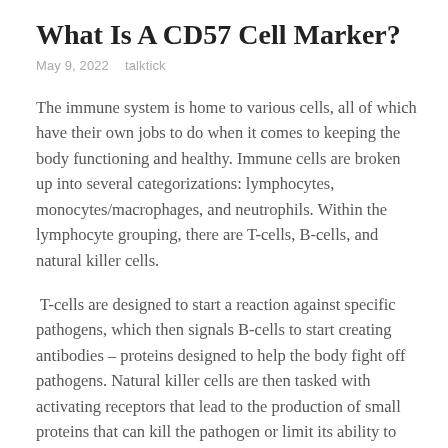What Is A CD57 Cell Marker?
May 9, 2022   talktick
The immune system is home to various cells, all of which have their own jobs to do when it comes to keeping the body functioning and healthy. Immune cells are broken up into several categorizations: lymphocytes, monocytes/macrophages, and neutrophils. Within the lymphocyte grouping, there are T-cells, B-cells, and natural killer cells.
T-cells are designed to start a reaction against specific pathogens, which then signals B-cells to start creating antibodies – proteins designed to help the body fight off pathogens. Natural killer cells are then tasked with activating receptors that lead to the production of small proteins that can kill the pathogen or limit its ability to spread throughout